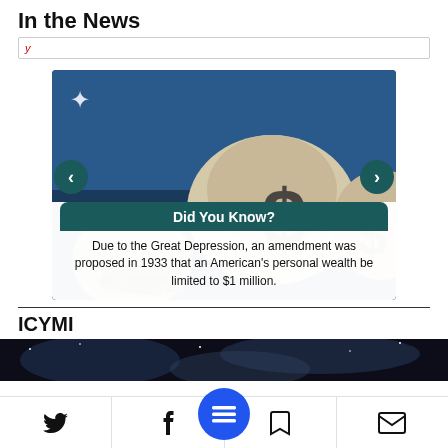In the News
[Figure (photo): Carousel image showing money bags with dollar sign symbols and stacks of cash, with navigation arrows on both sides. Contains a 'Did You Know?' overlay box with text about the Great Depression amendment.]
Did You Know?
Due to the Great Depression, an amendment was proposed in 1933 that an American's personal wealth be limited to $1 million.
ICYMI
[Figure (photo): Dark space/nebula background image, partially visible at the bottom of the page.]
Toolbar with Twitter, Facebook, menu, bookmark, and email icons